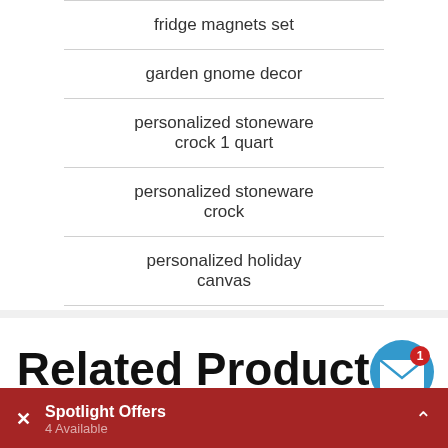fridge magnets set
garden gnome decor
personalized stoneware crock 1 quart
personalized stoneware crock
personalized holiday canvas
holiday shelf sitters
Related Products
Spotlight Offers
4 Available